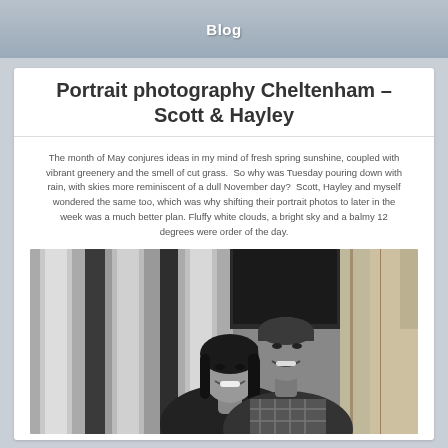Blog
Portrait photography Cheltenham – Scott & Hayley
The month of May conjures ideas in my mind of fresh spring sunshine, coupled with vibrant greenery and the smell of cut grass.  So why was Tuesday pouring down with rain, with skies more reminiscent of a dull November day?  Scott, Hayley and myself wondered the same too, which was why shifting their portrait photos to later in the week was a much better plan. Fluffy white clouds, a bright sky and a balmy 12 degrees were order of the day.
[Figure (photo): Black and white portrait photograph of a couple (Scott and Hayley) posing in front of large stone columns. The woman is in the foreground smiling, and the man is behind her, also smiling, wearing a plaid shirt.]